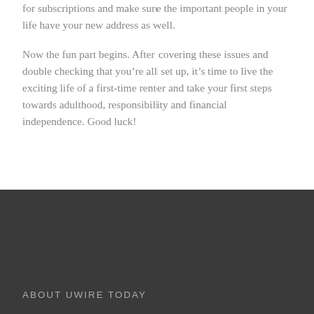for subscriptions and make sure the important people in your life have your new address as well.
Now the fun part begins. After covering these issues and double checking that you’re all set up, it’s time to live the exciting life of a first-time renter and take your first steps towards adulthood, responsibility and financial independence. Good luck!
ABOUT UWIRE TODAY